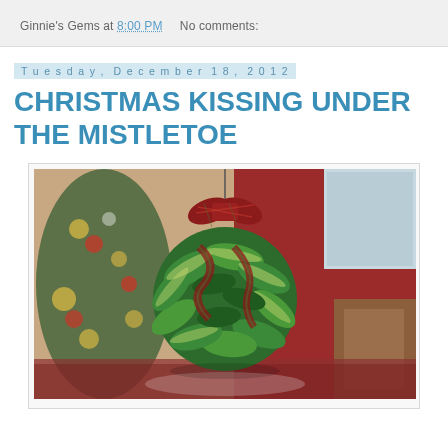Ginnie's Gems at 8:00 PM   No comments:
Tuesday, December 18, 2012
CHRISTMAS KISSING UNDER THE MISTLETOE
[Figure (photo): A ball of green holly/mistletoe decorated with red plaid ribbon, hanging above a Christmas-decorated table with a Christmas tree visible in the blurred background]